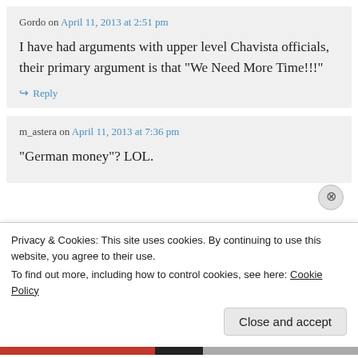Gordo on April 11, 2013 at 2:51 pm
I have had arguments with upper level Chavista officials, their primary argument is that “We Need More Time!!!”
↪ Reply
m_astera on April 11, 2013 at 7:36 pm
“German money”? LOL.
Privacy & Cookies: This site uses cookies. By continuing to use this website, you agree to their use.
To find out more, including how to control cookies, see here: Cookie Policy
Close and accept